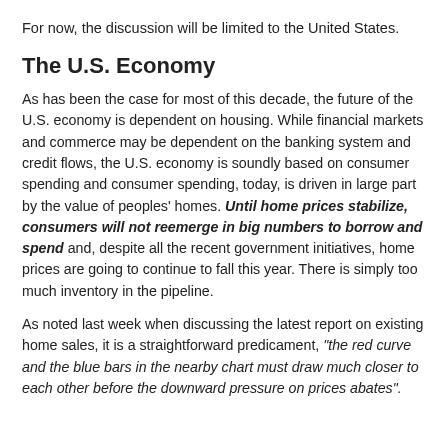For now, the discussion will be limited to the United States.
The U.S. Economy
As has been the case for most of this decade, the future of the U.S. economy is dependent on housing. While financial markets and commerce may be dependent on the banking system and credit flows, the U.S. economy is soundly based on consumer spending and consumer spending, today, is driven in large part by the value of peoples' homes. Until home prices stabilize, consumers will not reemerge in big numbers to borrow and spend and, despite all the recent government initiatives, home prices are going to continue to fall this year. There is simply too much inventory in the pipeline.
As noted last week when discussing the latest report on existing home sales, it is a straightforward predicament, "the red curve and the blue bars in the nearby chart must draw much closer to each other before the downward pressure on prices abates".